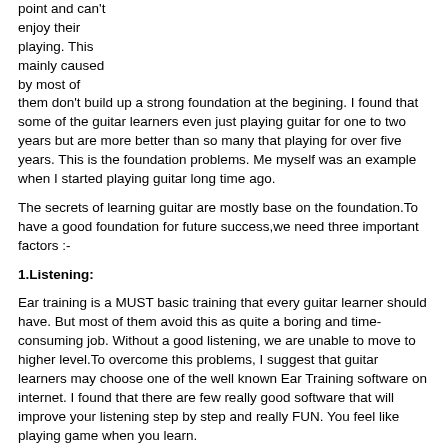point and can't enjoy their playing. This mainly caused by most of them don't build up a strong foundation at the begining. I found that some of the guitar learners even just playing guitar for one to two years but are more better than so many that playing for over five years. This is the foundation problems. Me myself was an example when I started playing guitar long time ago.
The secrets of learning guitar are mostly base on the foundation.To have a good foundation for future success,we need three important factors :-
1.Listening:
Ear training is a MUST basic training that every guitar learner should have. But most of them avoid this as quite a boring and time-consuming job. Without a good listening, we are unable to move to higher level.To overcome this problems, I suggest that guitar learners may choose one of the well known Ear Training software on internet. I found that there are few really good software that will improve your listening step by step and really FUN. You feel like playing game when you learn.
2.Daily practice: (Both fingers and ears)
Daily practice is another important thing we should do.(Ex.fingers exercises, practice for the basic scales)I suggest that beginners practice PENTATONIC SCALES at the starting point because this scales are the most simple scales that only have 5 tones. Try to practice 20 to 30 minutes daily. Remember that even just 20 minutes of RELAX and CONCERNTRATION DAILY practice is